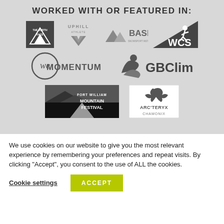WORKED WITH OR FEATURED IN:
[Figure (logo): Grid of brand logos: The North Face, Uphill Athlete, BASI, WCS, We Momentum, GB Climbing, Fort William Mountain Festival, Arc'teryx Chamonix]
We use cookies on our website to give you the most relevant experience by remembering your preferences and repeat visits. By clicking “Accept”, you consent to the use of ALL the cookies.
Cookie settings
ACCEPT